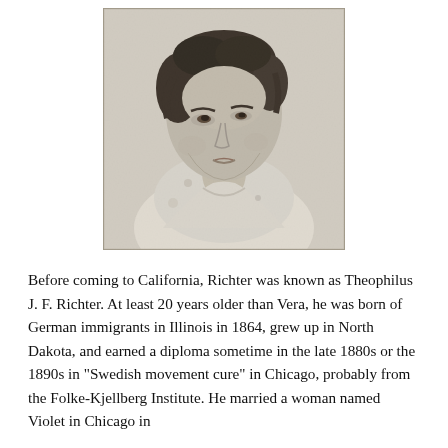[Figure (photo): Black and white portrait photograph of a young woman looking upward, with short curly dark hair, wearing a light-colored top. The photo appears aged and slightly grainy.]
Before coming to California, Richter was known as Theophilus J. F. Richter. At least 20 years older than Vera, he was born of German immigrants in Illinois in 1864, grew up in North Dakota, and earned a diploma sometime in the late 1880s or the 1890s in “Swedish movement cure” in Chicago, probably from the Folke-Kjellberg Institute. He married a woman named Violet in Chicago in